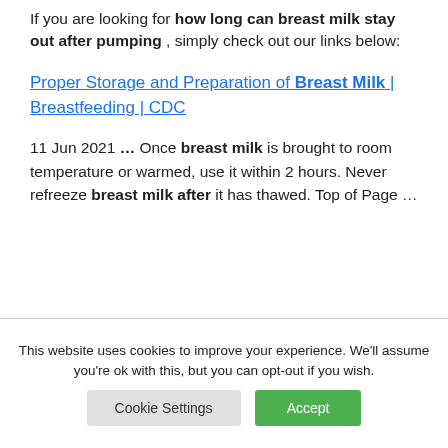If you are looking for how long can breast milk stay out after pumping , simply check out our links below:
Proper Storage and Preparation of Breast Milk | Breastfeeding | CDC
11 Jun 2021 ... Once breast milk is brought to room temperature or warmed, use it within 2 hours. Never refreeze breast milk after it has thawed. Top of Page ...
This website uses cookies to improve your experience. We'll assume you're ok with this, but you can opt-out if you wish.